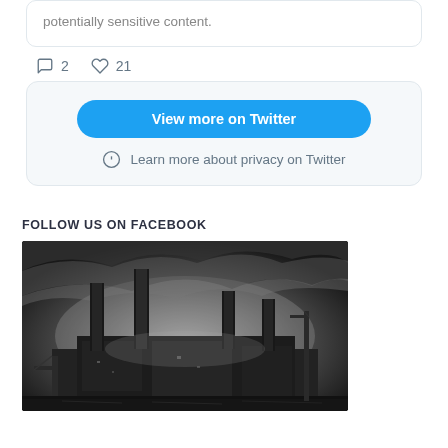potentially sensitive content.
2  21
View more on Twitter
Learn more about privacy on Twitter
FOLLOW US ON FACEBOOK
[Figure (photo): Black and white photograph of Battersea Power Station, London, with four chimneys against a dramatic cloudy sky]